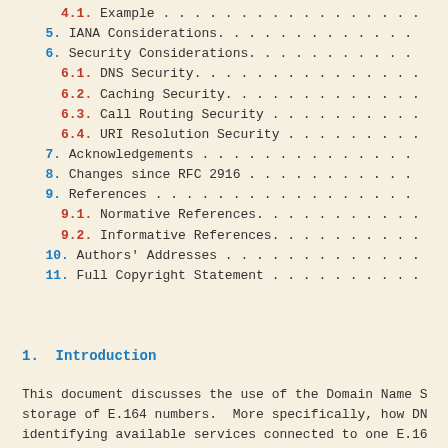4.1. Example . . . . . . . . . . . . . . . . .
5. IANA Considerations. . . . . . . . . . . . .
6. Security Considerations. . . . . . . . . . .
6.1. DNS Security. . . . . . . . . . . . . . .
6.2. Caching Security. . . . . . . . . . . . .
6.3. Call Routing Security . . . . . . . . . .
6.4. URI Resolution Security . . . . . . . . .
7. Acknowledgements . . . . . . . . . . . . . .
8. Changes since RFC 2916 . . . . . . . . . . .
9. References . . . . . . . . . . . . . . . . .
9.1. Normative References. . . . . . . . . . .
9.2. Informative References. . . . . . . . . .
10. Authors' Addresses . . . . . . . . . . . . .
11. Full Copyright Statement . . . . . . . . . .
1. Introduction
This document discusses the use of the Domain Name S storage of E.164 numbers.  More specifically, how DN identifying available services connected to one E.16